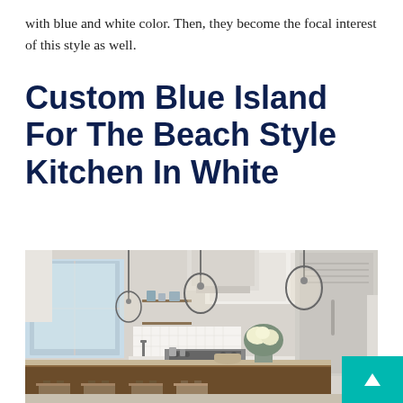with blue and white color. Then, they become the focal interest of this style as well.
Custom Blue Island For The Beach Style Kitchen In White
[Figure (photo): A bright, airy beach-style kitchen featuring a large dark wood island with bar stools, white cabinetry, pendant globe lights, open shelving, a range hood, stainless steel appliances, and a floral arrangement on the island.]